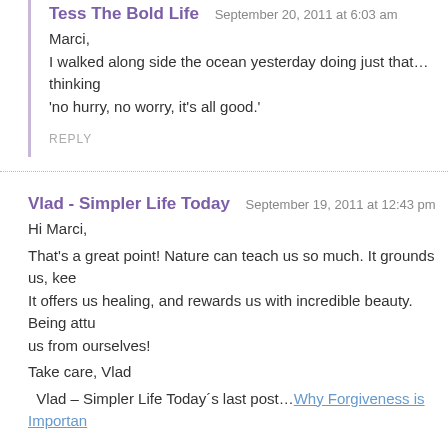Tess The Bold Life  September 20, 2011 at 6:03 am
Marci,
I walked along side the ocean yesterday doing just that…thinking
'no hurry, no worry, it's all good.'
REPLY
Vlad - Simpler Life Today  September 19, 2011 at 12:43 pm
Hi Marci,
That's a great point! Nature can teach us so much. It grounds us, kee
It offers us healing, and rewards us with incredible beauty. Being attu
us from ourselves!
Take care, Vlad
Vlad – Simpler Life Today´s last post…Why Forgiveness is Importan
REPLY